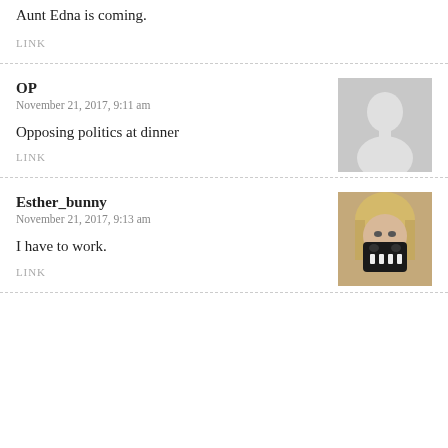Aunt Edna is coming.
LINK
OP
November 21, 2017, 9:11 am
[Figure (illustration): Gray placeholder avatar silhouette]
Opposing politics at dinner
LINK
Esther_bunny
November 21, 2017, 9:13 am
[Figure (photo): User avatar photo showing a person wearing a skull mask]
I have to work.
LINK